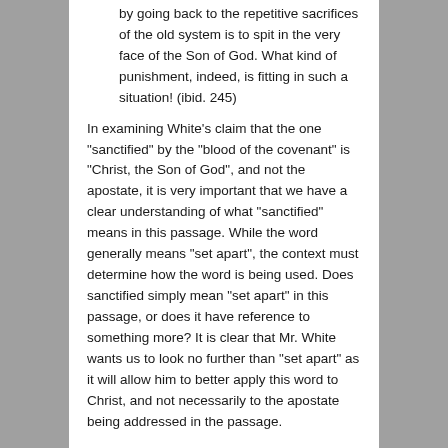by going back to the repetitive sacrifices of the old system is to spit in the very face of the Son of God. What kind of punishment, indeed, is fitting in such a situation! (ibid. 245)
In examining White's claim that the one “sanctified” by the “blood of the covenant” is “Christ, the Son of God”, and not the apostate, it is very important that we have a clear understanding of what “sanctified” means in this passage. While the word generally means “set apart”, the context must determine how the word is being used. Does sanctified simply mean “set apart” in this passage, or does it have reference to something more? It is clear that Mr. White wants us to look no further than “set apart” as it will allow him to better apply this word to Christ, and not necessarily to the apostate being addressed in the passage.